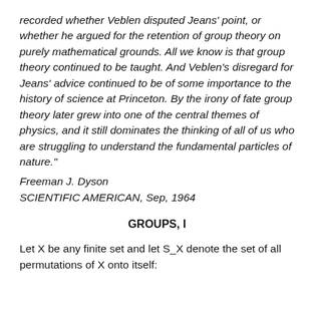recorded whether Veblen disputed Jeans' point, or whether he argued for the retention of group theory on purely mathematical grounds. All we know is that group theory continued to be taught. And Veblen's disregard for Jeans' advice continued to be of some importance to the history of science at Princeton. By the irony of fate group theory later grew into one of the central themes of physics, and it still dominates the thinking of all of us who are struggling to understand the fundamental particles of nature."
Freeman J. Dyson
SCIENTIFIC AMERICAN, Sep, 1964
GROUPS, I
Let X be any finite set and let S_X denote the set of all permutations of X onto itself: